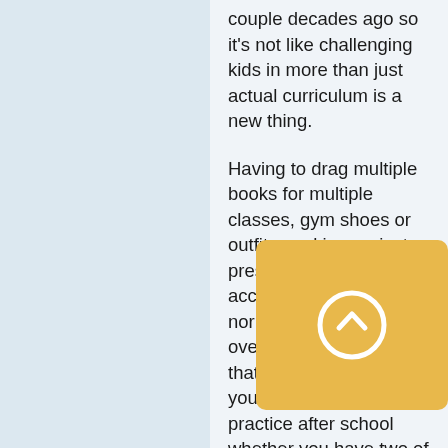couple decades ago so it's not like challenging kids in more than just actual curriculum is a new thing.
Having to drag multiple books for multiple classes, gym shoes or outfits, making project or presentation accommodations is the norm for lots of kids all over the place.  And yes that might even include your athletic gear for practice after school whether you have two of everything or share between houses it still has to go to school and get dragged around.
A kid having to lug some or all of his books to school on Monday morning so they aren't inadvertently forgotten at dad's is no different than having to do it any other day of the week.
That...